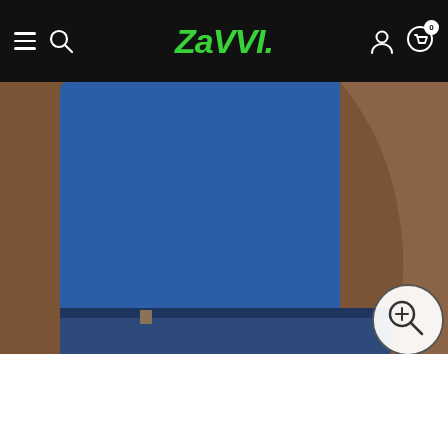Zavvi
[Figure (photo): Man wearing a royal blue Flintstones Family Car Distressed T-shirt, cropped to show torso and hands, with jeans. Light grey background. Zoom icon in bottom right corner.]
[Figure (photo): Thumbnail strip showing 5 product images of the royal blue Flintstones t-shirt: front on model, closeup of graphic, full front on model, back on model, and partial front view.]
The Flintstones Family Car Distressed Men's T-Shirt - Royal Blue